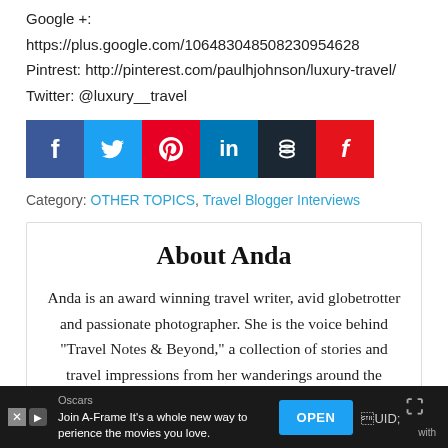Google +: https://plus.google.com/106483048508230954628
Pintrest: http://pinterest.com/paulhjohnson/luxury-travel/
Twitter: @luxury__travel
[Figure (infographic): Six social media share buttons: Facebook (blue), Twitter (cyan), Pinterest (red), LinkedIn (blue), Buffer (dark), Flipboard (red)]
Category: OTHER TOPICS, Travel Blogger Interviews
About Anda
Anda is an award winning travel writer, avid globetrotter and passionate photographer. She is the voice behind "Travel Notes & Beyond," a collection of stories and travel impressions from her wanderings around the world. When she is not busy writing,
[Figure (infographic): Advertisement bar at bottom: Oscars - Join A-Frame It's a whole new way to experience the movies you love. OPEN button. Dark background.]